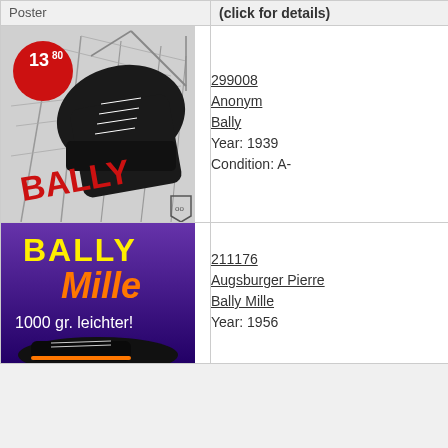| Poster | (click for details) |
| --- | --- |
| [Bally poster image 1939] | 299008
Anonym
Bally
Year: 1939
Condition: A- |
| [Bally Mille poster image 1956] | 211176
Augsburger Pierre
Bally Mille
Year: 1956 |